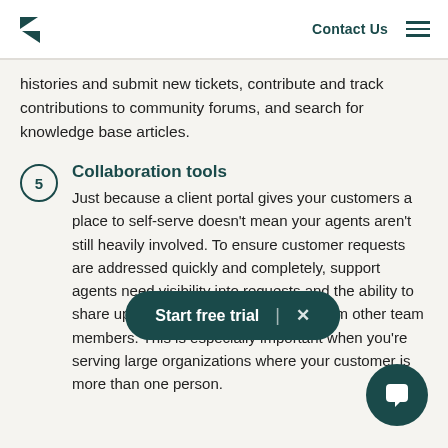Contact Us
histories and submit new tickets, contribute and track contributions to community forums, and search for knowledge base articles.
5 Collaboration tools
Just because a client portal gives your customers a place to self-serve doesn't mean your agents aren't still heavily involved. To ensure customer requests are addressed quickly and completely, support agents need visibility into requests and the ability to share updates or request assistance from other team members. This is especially important when you're serving large organizations where your customer is more than one person.